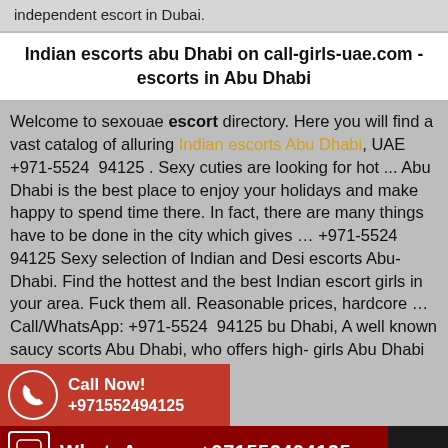independent escort in Dubai.
Indian escorts abu Dhabi on call-girls-uae.com - escorts in Abu Dhabi
Welcome to sexouae escort directory. Here you will find a vast catalog of alluring Indian escorts Abu Dhabi, UAE +971-5524 94125 . Sexy cuties are looking for hot ... Abu Dhabi is the best place to enjoy your holidays and make happy to spend time there. In fact, there are many things have to be done in the city which gives ... +971-5524 94125 Sexy selection of Indian and Desi escorts Abu-Dhabi. Find the hottest and the best Indian escort girls in your area. Fuck them all. Reasonable prices, hardcore ... Call/WhatsApp: +971-5524 94125 bu Dhabi, A well known saucy scorts Abu Dhabi, who offers high- girls Abu Dhabi
Call Now! +971552494125
WhatsApp us +971552494125